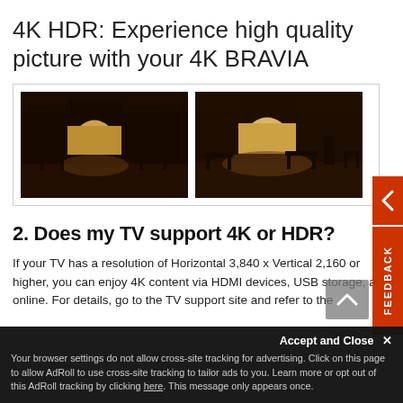4K HDR: Experience high quality picture with your 4K BRAVIA
[Figure (photo): Two side-by-side comparison images of a dark interior room with an arched window showing exterior light, demonstrating HDR picture quality on a 4K BRAVIA TV.]
2. Does my TV support 4K or HDR?
If your TV has a resolution of Horizontal 3,840 x Vertical 2,160 or higher, you can enjoy 4K content via HDMI devices, USB storage, and online. For details, go to the TV support site and refer to the
Your browser settings do not allow cross-site tracking for advertising. Click on this page to allow AdRoll to use cross-site tracking to tailor ads to you. Learn more or opt out of this AdRoll tracking by clicking here. This message only appears once.